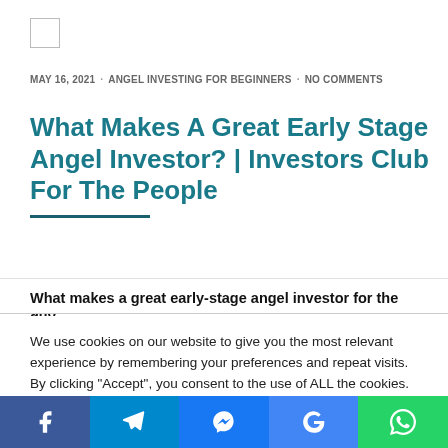[Figure (logo): Small logo/icon in top left corner]
MAY 16, 2021 · ANGEL INVESTING FOR BEGINNERS · NO COMMENTS
What Makes A Great Early Stage Angel Investor? | Investors Club For The People
What makes a great early-stage angel investor for the guy
We use cookies on our website to give you the most relevant experience by remembering your preferences and repeat visits. By clicking “Accept”, you consent to the use of ALL the cookies.
Cookie settings  ACCEPT